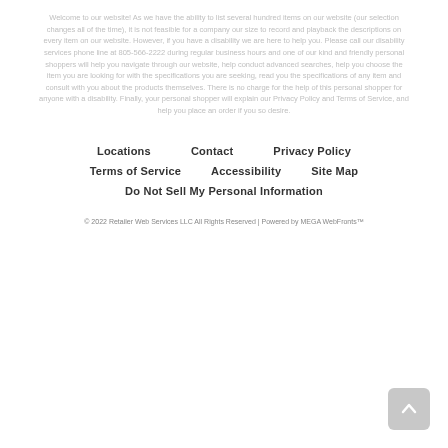Welcome to our website! As we have the ability to list several hundred items on our website (our selection changes all of the time), it is not feasible for a company our size to record and playback the descriptions on every item on our website. However, if you have a disability we are here to help you. Please call our disability services phone line at 805-566-2222 during regular business hours and one of our kind and friendly personal shoppers will help you navigate through our website, help conduct advanced searches, help you choose the item you are looking for with the specifications you are seeking, read you the specifications of any item and consult with you about the products themselves. There is no charge for the help of this personal shopper for anyone with a disability. Finally, your personal shopper will explain our Privacy Policy and Terms of Service, and help you place an order if you so desire.
Locations
Contact
Privacy Policy
Terms of Service
Accessibility
Site Map
Do Not Sell My Personal Information
© 2022 Retailer Web Services LLC All Rights Reserved | Powered by MEGA WebFronts™